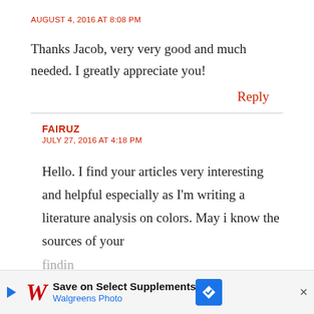AUGUST 4, 2016 AT 8:08 PM
Thanks Jacob, very very good and much needed. I greatly appreciate you!
Reply
FAIRUZ
JULY 27, 2016 AT 4:18 PM
Hello. I find your articles very interesting and helpful especially as I'm writing a literature analysis on colors. May i know the sources of your findings
[Figure (screenshot): Walgreens Photo advertisement banner: 'Save on Select Supplements' with Walgreens logo and blue diamond navigation icon]